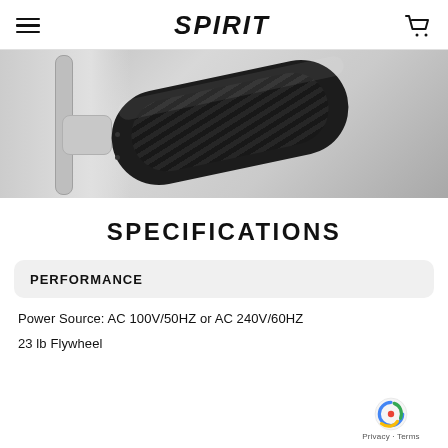SPIRIT
[Figure (photo): Close-up of an elliptical trainer pedal platform, dark textured surface, with silver/grey metal frame visible on the left side]
SPECIFICATIONS
PERFORMANCE
Power Source: AC 100V/50HZ or AC 240V/60HZ
23 lb Flywheel